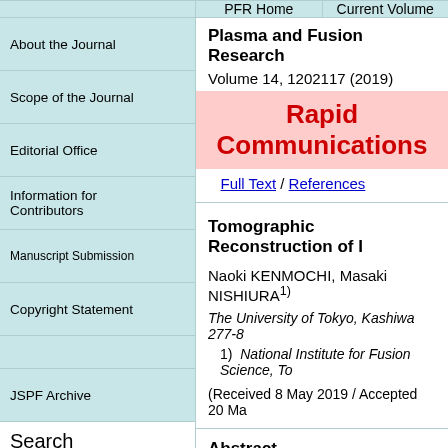PFR Home / Current Volume
About the Journal
Scope of the Journal
Editorial Office
Information for Contributors
Manuscript Submission
Copyright Statement
JSPF Archive
Plasma and Fusion Research
Volume 14, 1202117 (2019)
Rapid Communications
Full Text / References
Tomographic Reconstruction of I…
Naoki KENMOCHI, Masaki NISHIURA1)
The University of Tokyo, Kashiwa 277-8…
1) National Institute for Fusion Science, To…
(Received 8 May 2019 / Accepted 20 Ma…
Abstract
We have developed a tomographic recons…